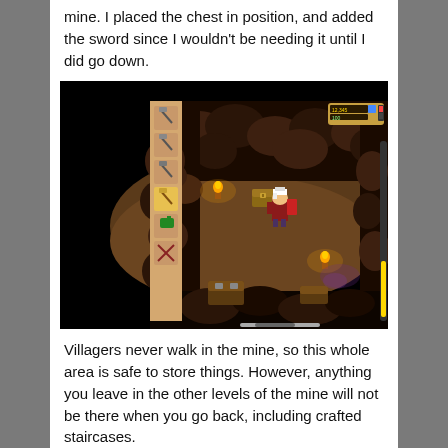mine. I placed the chest in position, and added the sword since I wouldn't be needing it until I did go down.
[Figure (screenshot): A screenshot from Stardew Valley showing the interior of a mine level. The screen has a dark cave environment with brown rocky walls, a player character with white hair and red clothing standing in the center, a chest visible in the middle area, torches lighting the cave, and what appears to be a crafting chest/box on the lower left. The game UI shows a toolbar on the left side with tools including pickaxes, a watering can, and other items. There is a HUD element in the top right corner showing stats, and a yellow bar on the right side indicating a level or health meter. The bottom of the screen has a scrollbar.]
Villagers never walk in the mine, so this whole area is safe to store things. However, anything you leave in the other levels of the mine will not be there when you go back, including crafted staircases.